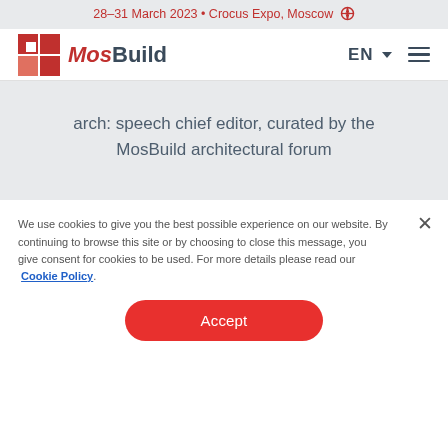28–31 March 2023 • Crocus Expo, Moscow
[Figure (logo): MosBuild logo: red and pink mosaic square icon with 'MosBuild' text in red and dark gray]
arch: speech chief editor, curated by the MosBuild architectural forum
We use cookies to give you the best possible experience on our website. By continuing to browse this site or by choosing to close this message, you give consent for cookies to be used. For more details please read our Cookie Policy.
Accept